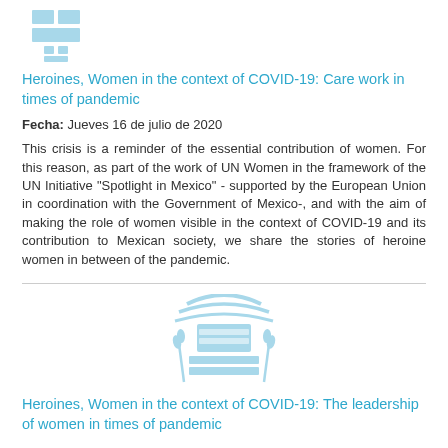[Figure (logo): UN Women logo - blue cross/plus symbol with horizontal bars, partially cropped at top]
Heroines, Women in the context of COVID-19: Care work in times of pandemic
Fecha: Jueves 16 de julio de 2020
This crisis is a reminder of the essential contribution of women. For this reason, as part of the work of UN Women in the framework of the UN Initiative "Spotlight in Mexico" - supported by the European Union in coordination with the Government of Mexico-, and with the aim of making the role of women visible in the context of COVID-19 and its contribution to Mexican society, we share the stories of heroine women in between of the pandemic.
[Figure (logo): UN Women logo - globe with wheat stalks and horizontal bars, light blue]
Heroines, Women in the context of COVID-19: The leadership of women in times of pandemic